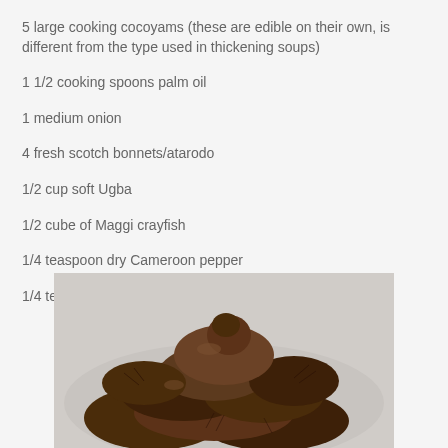5 large cooking cocoyams (these are edible on their own, is different from the type used in thickening soups)
1 1/2 cooking spoons palm oil
1 medium onion
4 fresh scotch bonnets/atarodo
1/2 cup soft Ugba
1/2 cube of Maggi crayfish
1/4 teaspoon dry Cameroon pepper
1/4 teaspoon salt
[Figure (photo): Photo of large cooking cocoyams piled on a white plate, showing their dark brown rough exterior with fibrous roots]